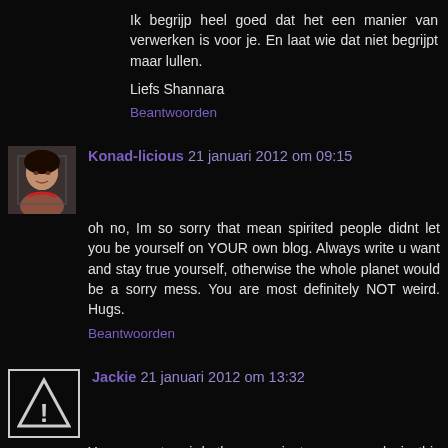Ik begrijp heel goed dat het een manier van verwerken is voor je. En laat wie dat niet begrijpt maar lullen.
Liefs Shannara
Beantwoorden
Konad-licious 21 januari 2012 om 09:15
oh no, Im so sorry that mean spirited people didnt let you be yourself on YOUR own blog. Always write u want and stay true yourself, otherwise the whole planet would be a sorry mess. You are most definitely NOT weird. Hugs.
Beantwoorden
Jackie 21 januari 2012 om 13:32
You are not weird...there are just mean people in this world..and I am sooo sorry for that.
Beantwoorden